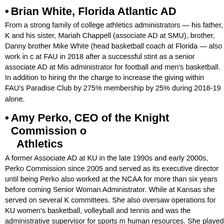• Brian White, Florida Atlantic AD
From a strong family of college athletics administrators — his father, K and his sister, Mariah Chappell (associate AD at SMU), brother, Danny brother Mike White (head basketball coach at Florida — also work in c at FAU in 2018 after a successful stint as a senior associate AD at Mis administrator for football and men's basketball. In addition to hiring thr the charge to increase the giving within FAU's Paradise Club by 275% membership by 25% during 2018-19 alone.
• Amy Perko, CEO of the Knight Commission on Athletics
A former Associate AD at KU in the late 1990s and early 2000s, Perko Commission since 2005 and served as its executive director until being Perko also worked at the NCAA for more than six years before coming Senior Woman Administrator. While at Kansas she served on several K committees. She also oversaw operations for KU women's basketball, volleyball and tennis and was the administrative supervisor for sports m human resources. She played a major role in the renovation of Hoglun century. A former women's basketball standout at Wake Forest, Perko, Changer" by Street & Smith's Sports Business Journal.